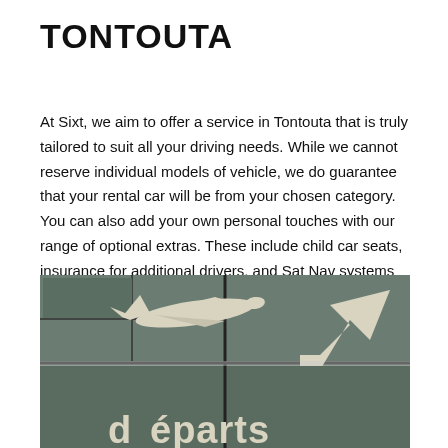TONTOUTA
At Sixt, we aim to offer a service in Tontouta that is truly tailored to suit all your driving needs. While we cannot reserve individual models of vehicle, we do guarantee that your rental car will be from your chosen category. You can also add your own personal touches with our range of optional extras. These include child car seats, insurance for additional drivers, and Sat Nav systems to help you find your way around if you are new to the area. Extras can easily be booked when you reserve your rental vehicle.
[Figure (photo): Airport departure sign showing a stylized airplane icon and an arrow pointing up-right, with the partial text 'départs' at the bottom on a dark green/grey tiled background.]